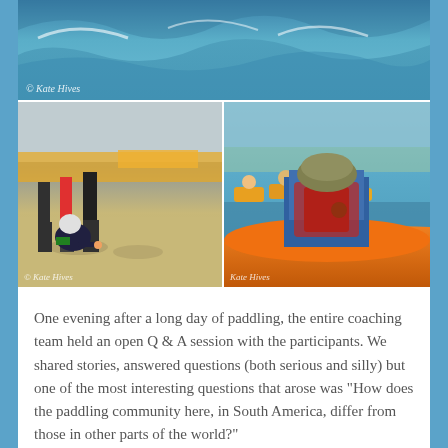[Figure (photo): Top photo showing ocean waves with water spray, watermark reading '© Kate Hives' in cursive at bottom left]
[Figure (photo): Bottom-left photo showing kayaking participants on a sandy beach with yellow kayaks, a person crouching on the ground; watermark '© Kate Hives']
[Figure (photo): Bottom-right photo showing group of kayakers on water from behind, orange kayak in foreground with person wearing blue jacket and red life vest; watermark 'Kate Hives']
One evening after a long day of paddling, the entire coaching team held an open Q & A session with the participants. We shared stories, answered questions (both serious and silly) but one of the most interesting questions that arose was “How does the paddling community here, in South America, differ from those in other parts of the world?”
There was a long pause from the coaches panel, which is unusual, as you might imagine. The easy answer might be: